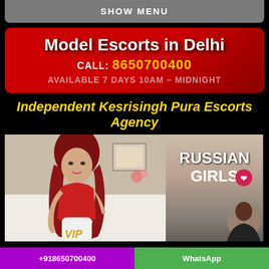SHOW MENU
Model Escorts in Delhi
CALL: 8650700400
AVAILABLE 7 DAYS 10AM – MIDNIGHT
Independent Kesrisingh Pura Escorts Agency
[Figure (photo): Woman with red hair in red outfit seated, with 'RUSSIAN GIRLS' text overlay and heart emoji, plus VIP badge and partial second person image]
+918650700400    WhatsApp